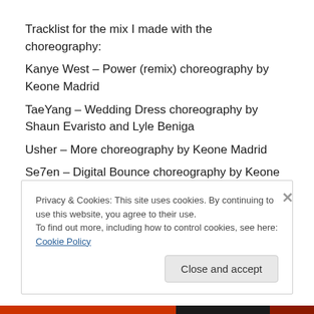Tracklist for the mix I made with the choreography:
Kanye West – Power (remix) choreography by Keone Madrid
TaeYang – Wedding Dress choreography by Shaun Evaristo and Lyle Beniga
Usher – More choreography by Keone Madrid
Se7en – Digital Bounce choreography by Keone Madrid
Privacy & Cookies: This site uses cookies. By continuing to use this website, you agree to their use. To find out more, including how to control cookies, see here: Cookie Policy
Close and accept